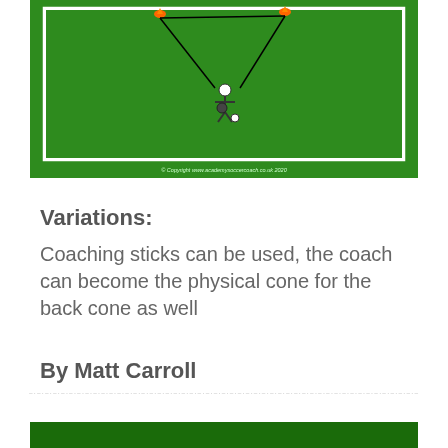[Figure (illustration): Soccer/football coaching drill diagram on a green field. Shows a pitch with white boundary lines and players/cones marked. Orange cones visible at top. Copyright text at bottom reads '© Copyright www.academysoccercoach.co.uk 2020']
Variations:
Coaching sticks can be used, the coach can become the physical cone for the back cone as well
By Matt Carroll